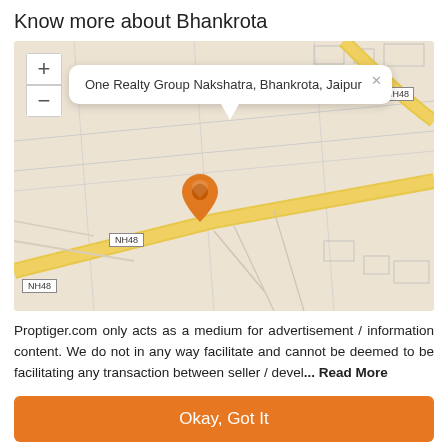Know more about Bhankrota
[Figure (map): Map showing location of One Realty Group Nakshatra, Bhankrota, Jaipur with NH48 highway visible and a location pin marker. Zoom +/- controls visible on top-left.]
Proptiger.com only acts as a medium for advertisement / information content. We do not in any way facilitate and cannot be deemed to be facilitating any transaction between seller / devel... Read More
Okay, Got It